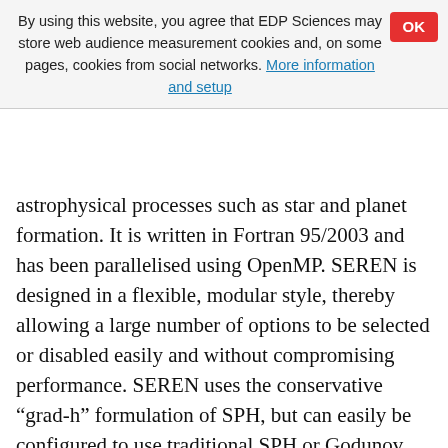By using this website, you agree that EDP Sciences may store web audience measurement cookies and, on some pages, cookies from social networks. More information and setup
astrophysical processes such as star and planet formation. It is written in Fortran 95/2003 and has been parallelised using OpenMP. SEREN is designed in a flexible, modular style, thereby allowing a large number of options to be selected or disabled easily and without compromising performance. SEREN uses the conservative “grad-h” formulation of SPH, but can easily be configured to use traditional SPH or Godunov SPH. Thermal physics is treated either with a barotropic equation of state, or by solving the energy equation and modelling the transport of cooling radiation. A Barnes-Hut tree is used to obtain neighbour lists and compute gravitational accelerations efficiently, and an hierarchical time-stepping scheme is used to reduce the